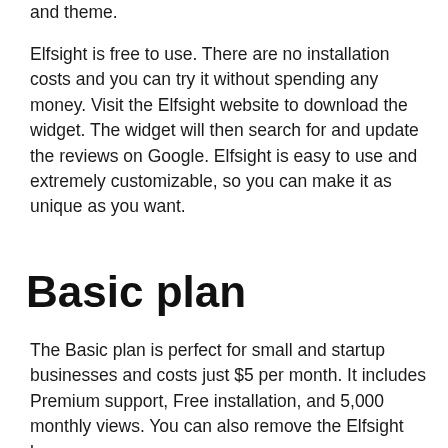and theme.
Elfsight is free to use. There are no installation costs and you can try it without spending any money. Visit the Elfsight website to download the widget. The widget will then search for and update the reviews on Google. Elfsight is easy to use and extremely customizable, so you can make it as unique as you want.
Basic plan
The Basic plan is perfect for small and startup businesses and costs just $5 per month. It includes Premium support, Free installation, and 5,000 monthly views. You can also remove the Elfsight logo on your